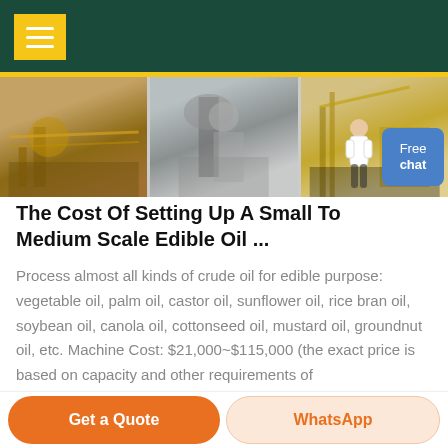Menu navigation header with yellow icon
[Figure (photo): Three industrial machinery / oil mill plant photos side by side]
The Cost Of Setting Up A Small To Medium Scale Edible Oil ...
Process almost all kinds of crude oil for edible purpose: vegetable oil, palm oil, castor oil, sunflower oil, rice bran oil, soybean oil, canola oil, cottonseed oil, mustard oil, groundnut oil, etc. Machine Cost: $21,000~$115,000 (the exact price is based on capacity and other requirements of
[Figure (other): Free chat button with person figure]
Get a Quote | WhatsApp